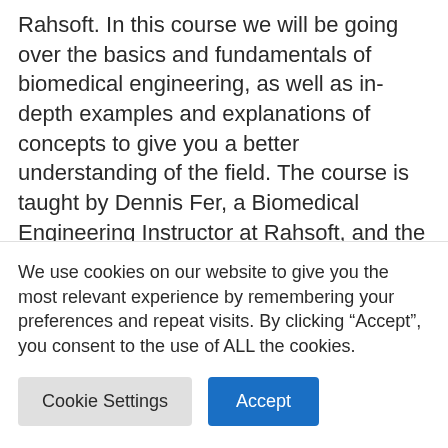Rahsoft. In this course we will be going over the basics and fundamentals of biomedical engineering, as well as in-depth examples and explanations of concepts to give you a better understanding of the field. The course is taught by Dennis Fer, a Biomedical Engineering Instructor at Rahsoft, and the course advisor is Ahsan Ghoncheh, the Co-Founder and Technical Advisor at Rahsoft.
We will be presenting this information to you
We use cookies on our website to give you the most relevant experience by remembering your preferences and repeat visits. By clicking “Accept”, you consent to the use of ALL the cookies.